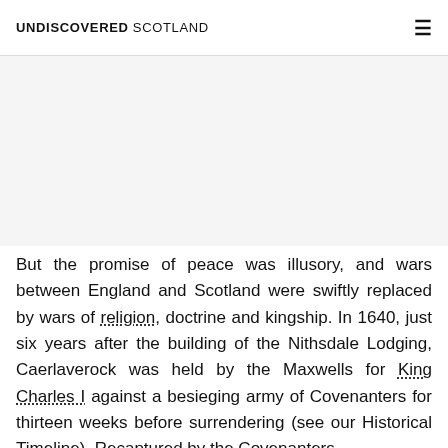UNDISCOVERED SCOTLAND
[Figure (other): Advertisement or image placeholder area]
But the promise of peace was illusory, and wars between England and Scotland were swiftly replaced by wars of religion, doctrine and kingship. In 1640, just six years after the building of the Nithsdale Lodging, Caerlaverock was held by the Maxwells for King Charles I against a besieging army of Covenanters for thirteen weeks before surrendering (see our Historical Timeline). Recaptured by the Covenanters...